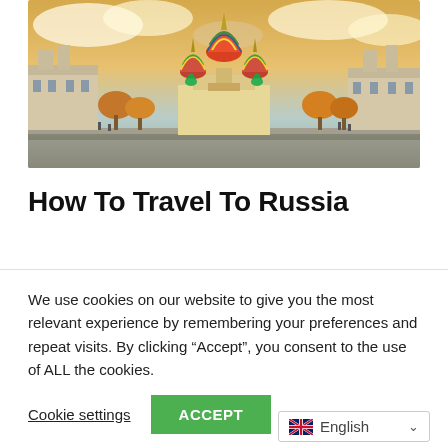[Figure (photo): Aerial/ground-level photograph of Saint Basil's Cathedral in Moscow's Red Square with colorful onion domes, autumn trees, and dramatic cloudy sky]
How To Travel To Russia
By plane Moscow and St Petersburg are served by direct flights from most European capitals, and Moscow also has direct flights from many cities in East Asia, South Asia, Africa, the Middle East and
We use cookies on our website to give you the most relevant experience by remembering your preferences and repeat visits. By clicking “Accept”, you consent to the use of ALL the cookies.
Cookie settings | ACCEPT
English